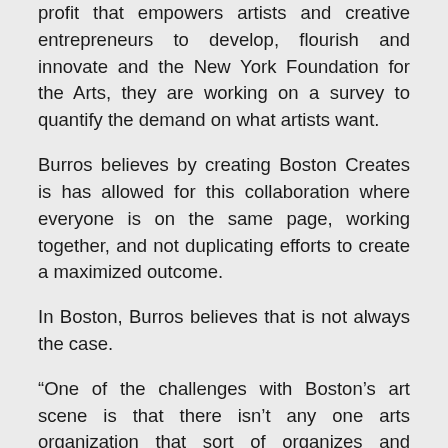profit that empowers artists and creative entrepreneurs to develop, flourish and innovate and the New York Foundation for the Arts, they are working on a survey to quantify the demand on what artists want.
Burros believes by creating Boston Creates is has allowed for this collaboration where everyone is on the same page, working together, and not duplicating efforts to create a maximized outcome.
In Boston, Burros believes that is not always the case.
“One of the challenges with Boston’s art scene is that there isn’t any one arts organization that sort of organizes and supports artists,” she said. The dancers have one group and the writers another.
In the future, she hopes that the Office of Arts...